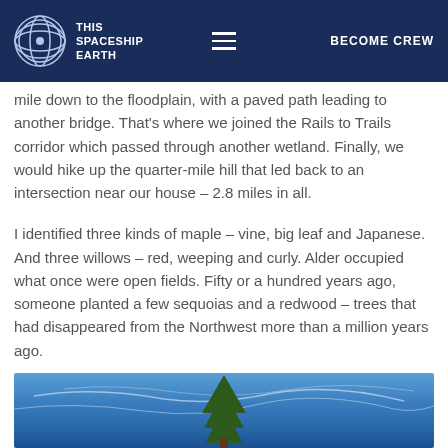THIS SPACESHIP EARTH | BECOME CREW
mile down to the floodplain, with a paved path leading to another bridge. That's where we joined the Rails to Trails corridor which passed through another wetland. Finally, we would hike up the quarter-mile hill that led back to an intersection near our house – 2.8 miles in all.
I identified three kinds of maple – vine, big leaf and Japanese. And three willows – red, weeping and curly. Alder occupied what once were open fields. Fifty or a hundred years ago, someone planted a few sequoias and a redwood – trees that had disappeared from the Northwest more than a million years ago.
[Figure (photo): Tall tree against a blue sky with wispy clouds]